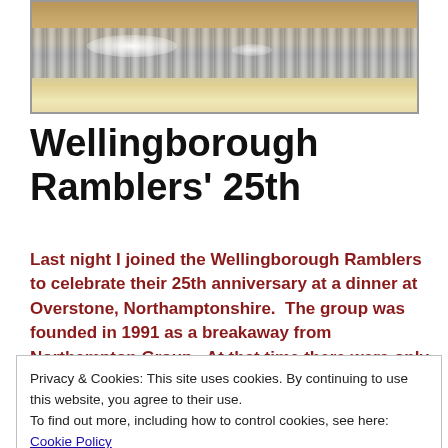[Figure (photo): Top portion of a photograph showing what appears to be a metal rail or decorative object with reflective surface, partially cropped]
Wellingborough Ramblers' 25th
Last night I joined the Wellingborough Ramblers to celebrate their 25th anniversary at a dinner at Overstone, Northamptonshire.  The group was founded in 1991 as a breakaway from Northampton Group.  At that time there were only two groups in
Privacy & Cookies: This site uses cookies. By continuing to use this website, you agree to their use.
To find out more, including how to control cookies, see here: Cookie Policy
miles, but when you add the reccies, the mileage doubles.